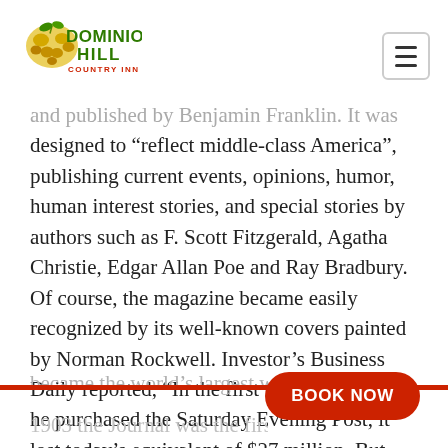[Figure (logo): Dominion Hill Country Inn logo with green text and decorative leaves/grapes graphic]
and published by Benjamin Franklin. It was designed to “reflect middle-class America”, publishing current events, opinions, humor, human interest stories, and special stories by authors such as F. Scott Fitzgerald, Agatha Christie, Edgar Allan Poe and Ray Bradbury. Of course, the magazine became easily recognized by its well-known covers painted by Norman Rockwell. Investor’s Business Daily reported, “In the first three years after he purchased the Saturday Evening Post, it lost today’s equivalent of $27 million. But eventually the Post became the world’s largest weekly.”
1903 the Journal was the first America...